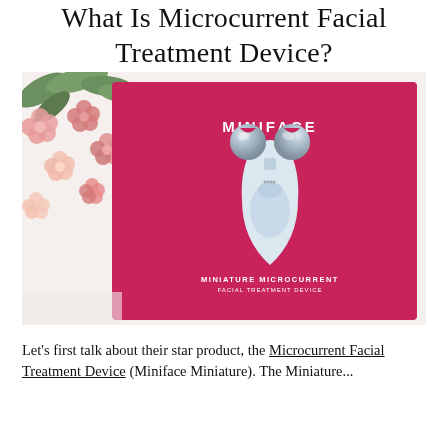What Is Microcurrent Facial Treatment Device?
[Figure (photo): Product photo of the Miniface Miniature Microcurrent Facial Treatment Device box on a white surface, with pink flowers and green leaves in the upper left. The hot-pink box displays the silver/white Miniface device and text 'MINIFACE' and 'MINIATURE MICROCURRENT FACIAL TREATMENT DEVICE'.]
Let's first talk about their star product, the Microcurrent Facial Treatment Device (Miniface Miniature). The Miniature...